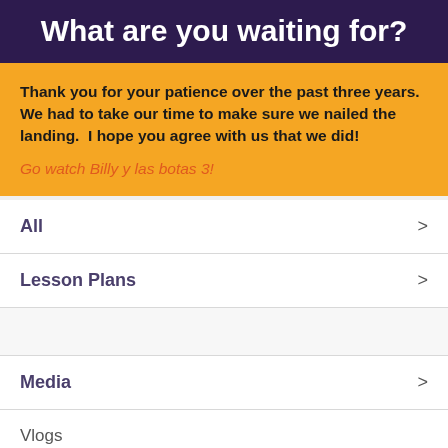What are you waiting for?
Thank you for your patience over the past three years. We had to take our time to make sure we nailed the landing.  I hope you agree with us that we did!
Go watch Billy y las botas 3!
All
Lesson Plans
Media
Vlogs